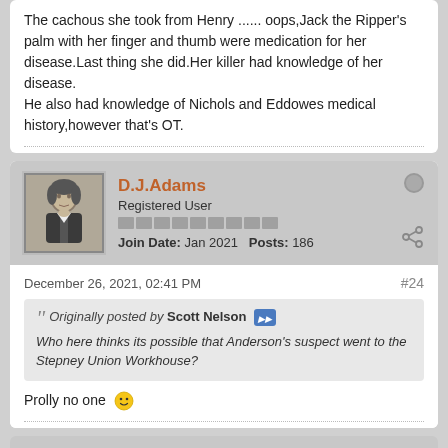The cachous she took from Henry ...... oops,Jack the Ripper's palm with her finger and thumb were medication for her disease.Last thing she did.Her killer had knowledge of her disease.
He also had knowledge of Nichols and Eddowes medical history,however that's OT.
D.J.Adams
Registered User
Join Date: Jan 2021  Posts: 186
December 26, 2021, 02:41 PM
#24
Originally posted by Scott Nelson
Who here thinks its possible that Anderson's suspect went to the Stepney Union Workhouse?
Prolly no one 🙂